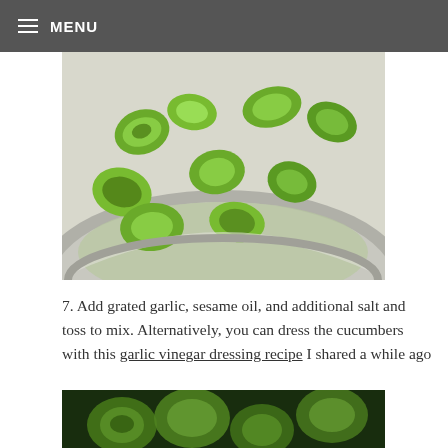MENU
[Figure (photo): Chopped cucumber pieces in a stainless steel mixing bowl with liquid/brine]
7. Add grated garlic, sesame oil, and additional salt and toss to mix. Alternatively, you can dress the cucumbers with this garlic vinegar dressing recipe I shared a while ago
[Figure (photo): Close-up of chopped cucumber pieces being dressed or mixed]